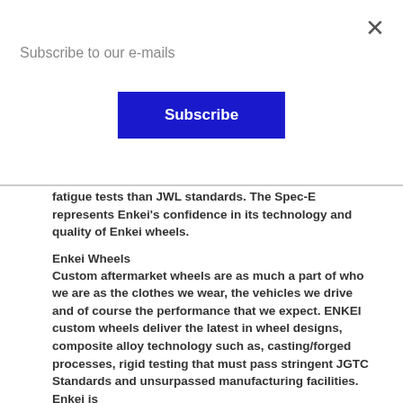Subscribe to our e-mails
fatigue tests than JWL standards. The Spec-E represents Enkei's confidence in its technology and quality of Enkei wheels.
Enkei Wheels
Custom aftermarket wheels are as much a part of who we are as the clothes we wear, the vehicles we drive and of course the performance that we expect. ENKEI custom wheels deliver the latest in wheel designs, composite alloy technology such as, casting/forged processes, rigid testing that must pass stringent JGTC Standards and unsurpassed manufacturing facilities. Enkei is